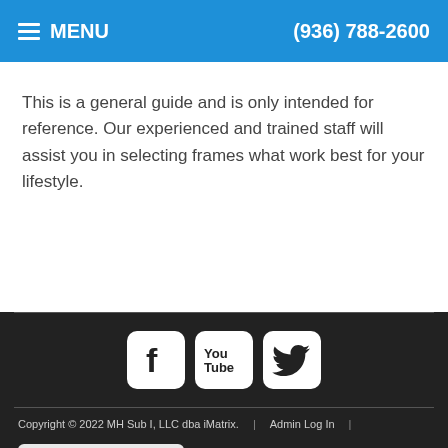MENU   (936) 788-2600
This is a general guide and is only intended for reference. Our experienced and trained staff will assist you in selecting frames what work best for your lifestyle.
[Figure (infographic): Social media icons: Facebook, YouTube, Twitter on dark footer background]
Copyright © 2022 MH Sub I, LLC dba iMatrix.  |  Admin Log In  |  Site Map  Accessibility View ×